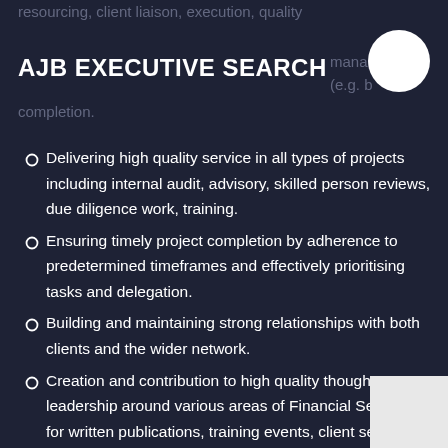resourcing, client liaison, execution, quality
management (e.g. b… completion.
AJB EXECUTIVE SEARCH
Delivering high quality service in all types of projects including internal audit, advisory, skilled person reviews, due diligence work, training.
Ensuring timely project completion by adherence to predetermined timeframes and effectively prioritising tasks and delegation.
Building and maintaining strong relationships with both clients and the wider network.
Creation and contribution to high quality thought leadership around various areas of Financial Services for written publications, training events, client seminars and